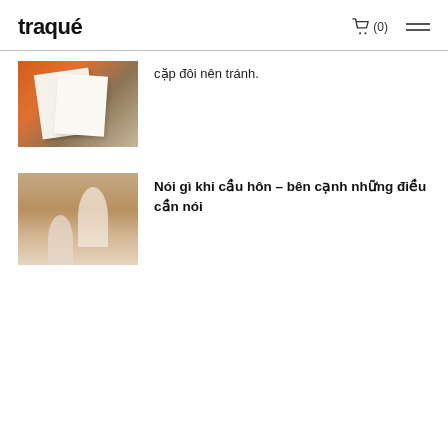traqué
cặp đôi nên tránh.
[Figure (photo): Wedding stationery/invitations spread on a table with orange and neutral tones]
[Figure (photo): Man kneeling proposing to woman in a field]
Nói gì khi cầu hôn – bên cạnh những điều cần nói